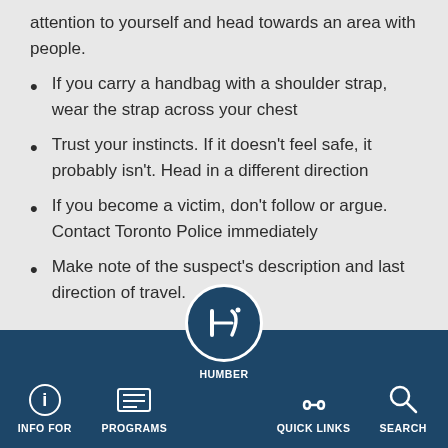attention to yourself and head towards an area with people.
If you carry a handbag with a shoulder strap, wear the strap across your chest
Trust your instincts. If it doesn't feel safe, it probably isn't. Head in a different direction
If you become a victim, don't follow or argue. Contact Toronto Police immediately
Make note of the suspect's description and last direction of travel.
INFO FOR | PROGRAMS | HUMBER | QUICK LINKS | SEARCH